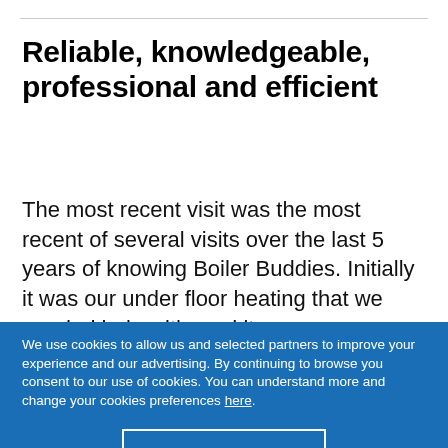Reliable, knowledgeable, professional and efficient
The most recent visit was the most recent of several visits over the last 5 years of knowing Boiler Buddies. Initially it was our under floor heating that we needed help with, and it was
We use cookies to allow us and selected partners to improve your experience and our advertising. By continuing to browse you consent to our use of cookies. You can understand more and change your cookies preferences here.
OK